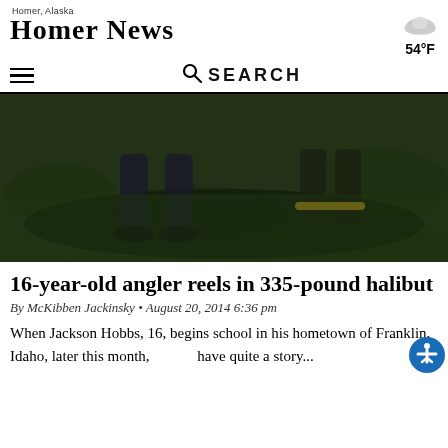Homer News — Homer, Alaska — 54°F
[Figure (photo): Dark photo showing feet/legs on grass, likely holding a large halibut fish on the ground]
16-year-old angler reels in 335-pound halibut
By McKibben Jackinsky • August 20, 2014 6:36 pm
When Jackson Hobbs, 16, begins school in his hometown of Franklin, Idaho, later this month, have quite a story...